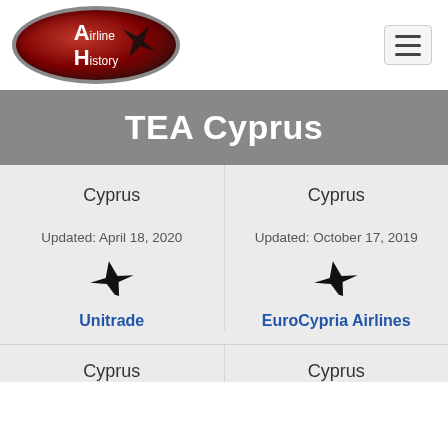[Figure (logo): Airline History logo: dark red oval with white text 'Airline History' and silhouette of aircraft]
TEA Cyprus
Cyprus
Cyprus
Updated: April 18, 2020
Updated: October 17, 2019
Unitrade
EuroCypria Airlines
Cyprus
Cyprus